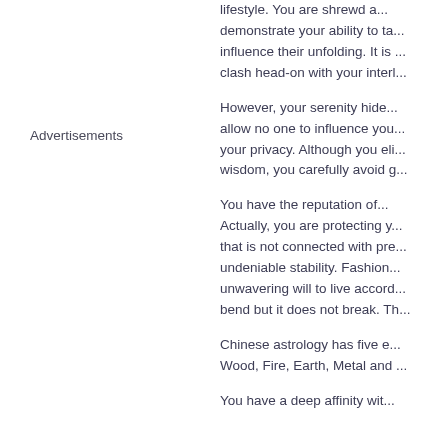lifestyle. You are shrewd a... demonstrate your ability to ta... influence their unfolding. It is ... clash head-on with your interl...
However, your serenity hide... allow no one to influence you... your privacy. Although you eli... wisdom, you carefully avoid g...
You have the reputation of... Actually, you are protecting y... that is not connected with pre... undeniable stability. Fashion... unwavering will to live accord... bend but it does not break. Th...
Chinese astrology has five e... Wood, Fire, Earth, Metal and ...
You have a deep affinity wit...
Advertisements